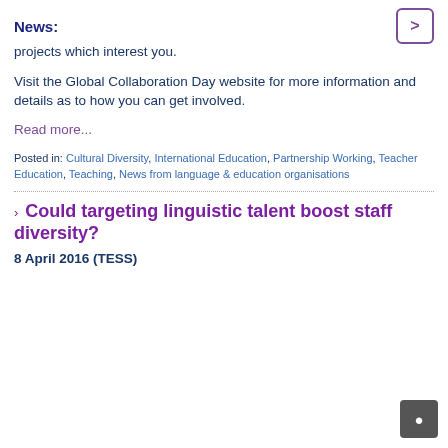News:
projects which interest you.
Visit the Global Collaboration Day website for more information and details as to how you can get involved.
Read more...
Posted in: Cultural Diversity, International Education, Partnership Working, Teacher Education, Teaching, News from language & education organisations
Could targeting linguistic talent boost staff diversity?
8 April 2016 (TESS)